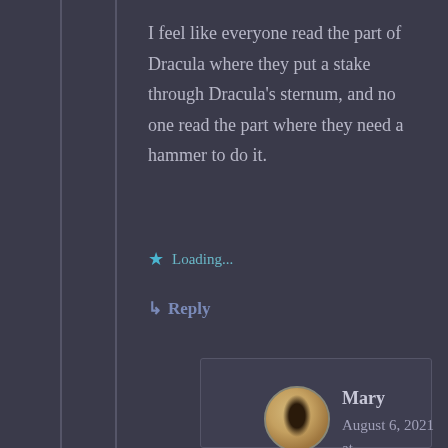I feel like everyone read the part of Dracula where they put a stake through Dracula's sternum, and no one read the part where they need a hammer to do it.
★ Loading...
↳ Reply
Mary
August 6, 2021 at 7:24 pm